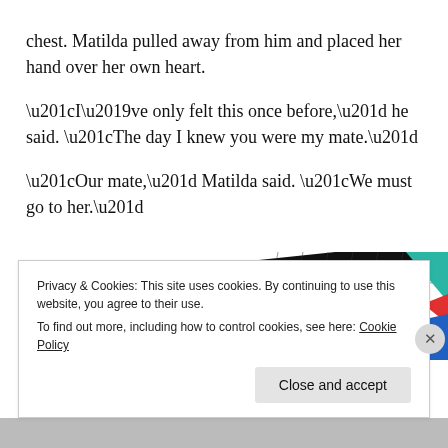chest. Matilda pulled away from him and placed her hand over her own heart.
“I’ve only felt this once before,” he said. “The day I knew you were my mate.”
“Our mate,” Matilda said. “We must go to her.”
[Figure (illustration): Partial view of a '99% Invisible' branded card/book with black background and yellow text, with colorful geometric shapes (teal, red, blue) visible on the right side.]
Privacy & Cookies: This site uses cookies. By continuing to use this website, you agree to their use.
To find out more, including how to control cookies, see here: Cookie Policy
Close and accept